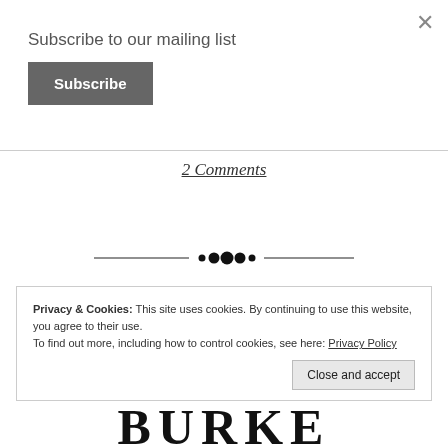×
Subscribe to our mailing list
Subscribe
2 Comments
[Figure (illustration): Decorative ornamental divider line with small diamond/dot cluster in the center]
Privacy & Cookies: This site uses cookies. By continuing to use this website, you agree to their use. To find out more, including how to control cookies, see here: Privacy Policy
Close and accept
BURKE